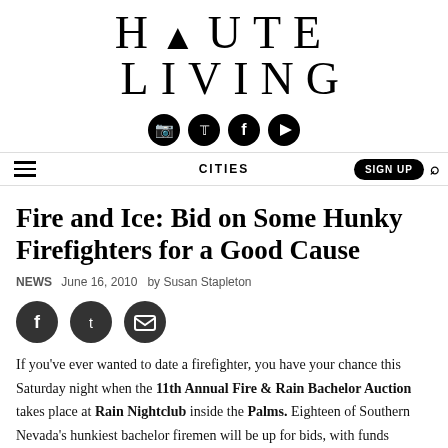HAUTE LIVING
Fire and Ice: Bid on Some Hunky Firefighters for a Good Cause
NEWS  June 16, 2010  by Susan Stapleton
If you've ever wanted to date a firefighter, you have your chance this Saturday night when the 11th Annual Fire & Rain Bachelor Auction takes place at Rain Nightclub inside the Palms. Eighteen of Southern Nevada's hunkiest bachelor firemen will be up for bids, with funds benefiting the Firefighters of Southern Nevada Burn Foundation